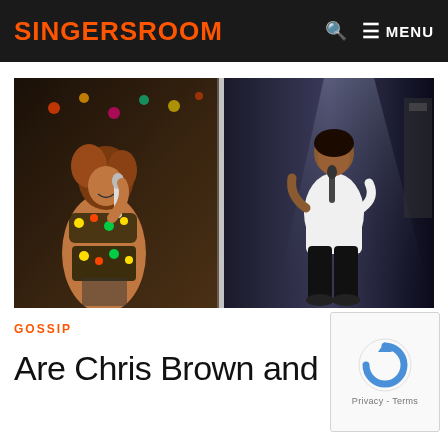SINGERSROOM  🔍  ≡ MENU
[Figure (photo): Two side-by-side concert performance photos: left shows a female singer in a floral bikini top performing on stage with a microphone; right shows a male singer in a white t-shirt and black pants performing on a dark stage with a microphone stand.]
GOSSIP
Are Chris Brown and